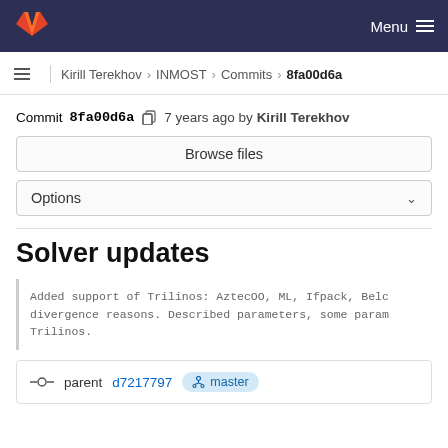Menu
Kirill Terekhov > INMOST > Commits > 8fa00d6a
Commit 8fa00d6a  7 years ago by Kirill Terekhov
Browse files
Options
Solver updates
Added support of Trilinos: AztecOO, ML, Ifpack, Belc divergence reasons. Described parameters, some param Trilinos.
parent d7217797  master